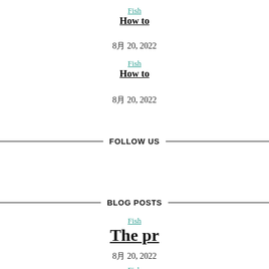Fish
How to
8月 20, 2022
Fish
How to
8月 20, 2022
FOLLOW US
BLOG POSTS
Fish
The pr
8月 20, 2022
Fish